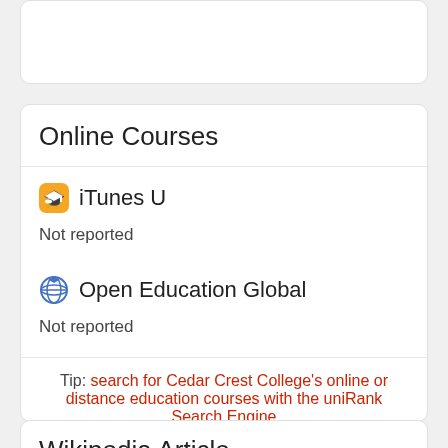Online Courses
iTunes U
Not reported
Open Education Global
Not reported
Tip: search for Cedar Crest College's online or distance education courses with the uniRank Search Engine
Wikipedia Article